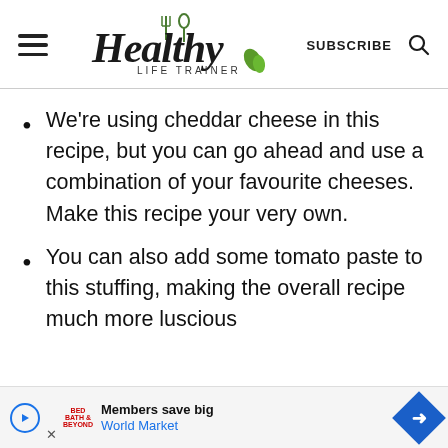Healthy Life Trainer — SUBSCRIBE
We're using cheddar cheese in this recipe, but you can go ahead and use a combination of your favourite cheeses. Make this recipe your very own.
You can also add some tomato paste to this stuffing, making the overall recipe much more luscious
[Figure (infographic): Advertisement banner: Members save big — World Market, with play button icon, close button, and blue diamond arrow icon]